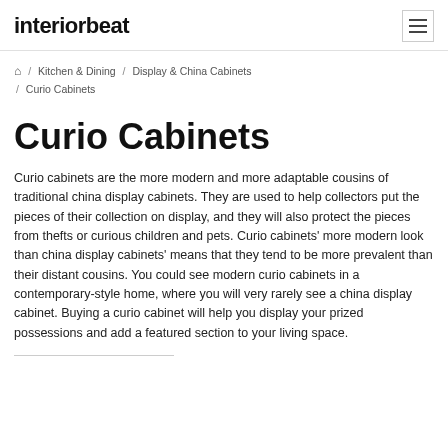interiorbeat
⌂ / Kitchen & Dining / Display & China Cabinets / Curio Cabinets
Curio Cabinets
Curio cabinets are the more modern and more adaptable cousins of traditional china display cabinets. They are used to help collectors put the pieces of their collection on display, and they will also protect the pieces from thefts or curious children and pets. Curio cabinets' more modern look than china display cabinets' means that they tend to be more prevalent than their distant cousins. You could see modern curio cabinets in a contemporary-style home, where you will very rarely see a china display cabinet. Buying a curio cabinet will help you display your prized possessions and add a featured section to your living space.